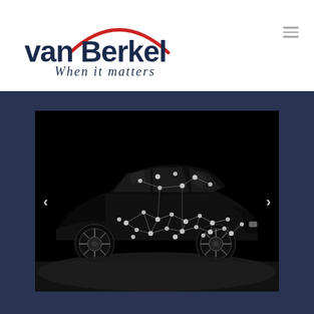[Figure (logo): van Berkel logo with red arc and tagline 'When it matters']
[Figure (photo): Black and white photograph of a dark sedan car covered with motion-capture dots and lines, photographed in a studio against a black background]